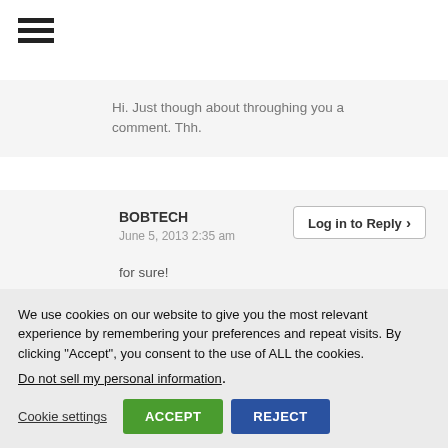[Figure (other): Hamburger menu icon (three horizontal lines)]
Hi. Just though about throughing you a comment. Thh.
BOBTECH
June 5, 2013 2:35 am
for sure!
We use cookies on our website to give you the most relevant experience by remembering your preferences and repeat visits. By clicking “Accept”, you consent to the use of ALL the cookies.
Do not sell my personal information.
Cookie settings  ACCEPT  REJECT